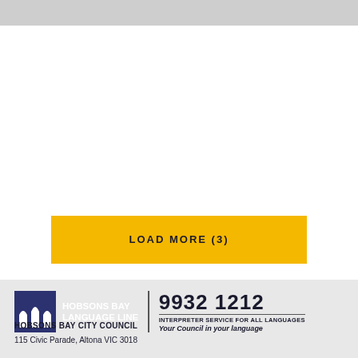[Figure (other): Top textured/grainy grey banner area]
LOAD MORE (3)
[Figure (logo): Hobsons Bay Language Line logo with navy background showing three archway icons, text reads HOBSONS BAY LANGUAGE LINE, phone number 9932 1212, INTERPRETER SERVICE FOR ALL LANGUAGES, Your Council in your language]
HOBSONS BAY CITY COUNCIL
115 Civic Parade, Altona VIC 3018